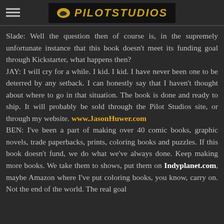PILOTSTUDIOS
Slade: Well the question then of course is, in the supremely unfortunate instance that this book doesn't meet its funding goal through Kickstarter, what happens then?
JAY: I will cry for a while. I kid. I kid. I have never been one to be deterred by any setback. I can honestly say that I haven't thought about where to go in that situation. The book is done and ready to ship. It will probably be sold through the Pilot Studios site, or through my website. www.JasonHuwer.com
BEN: I've been a part of making over 40 comic books, graphic novels, trade paperbacks, prints, coloring books and puzzles. If this book doesn't fund, we do what we've always done. Keep making more books. We take them to shows, put them on Indyplanet.com, maybe Amazon where I've put coloring books, you know, carry on. Not the end of the world. The real goal